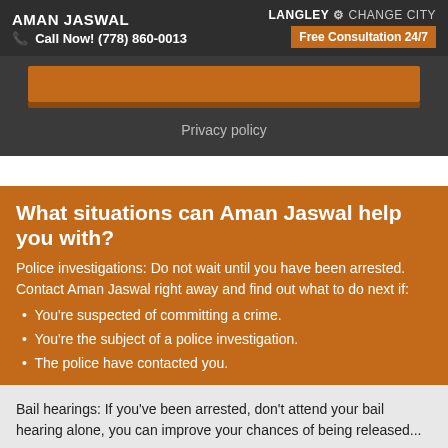AMAN JASWAL | Call Now! (778) 860-0013 | LANGLEY ⚙ CHANGE CITY | Free Consultation 24/7
[Figure (screenshot): Dark grey section with orange button bar and privacy policy link]
Privacy policy
What situations can Aman Jaswal help you with?
Police investigations: Do not wait until you have been arrested. Contact Aman Jaswal right away and find out what to do next if:
You're suspected of committing a crime.
You're the subject of a police investigation.
The police have contacted you.
Bail hearings: If you've been arrested, don't attend your bail hearing alone, you can improve your chances of being released...